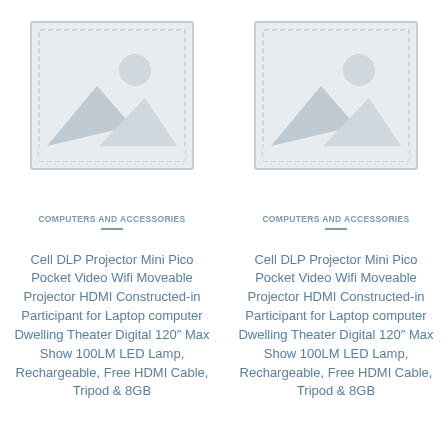[Figure (illustration): Placeholder image icon with mountain/landscape silhouette and sun circle, light gray, left column]
COMPUTERS AND ACCESSORIES
Cell DLP Projector Mini Pico Pocket Video Wifi Moveable Projector HDMI Constructed-in Participant for Laptop computer Dwelling Theater Digital 120″ Max Show 100LM LED Lamp, Rechargeable, Free HDMI Cable, Tripod & 8GB
[Figure (illustration): Placeholder image icon with mountain/landscape silhouette and sun circle, light gray, right column]
COMPUTERS AND ACCESSORIES
Cell DLP Projector Mini Pico Pocket Video Wifi Moveable Projector HDMI Constructed-in Participant for Laptop computer Dwelling Theater Digital 120″ Max Show 100LM LED Lamp, Rechargeable, Free HDMI Cable, Tripod & 8GB